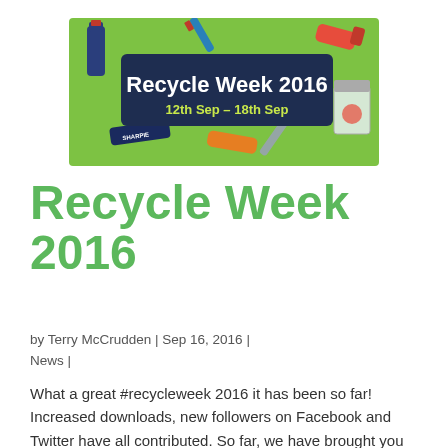[Figure (illustration): Recycle Week 2016 promotional banner with green background featuring recycling-related illustrations (bottles, cans, jars). A dark navy rectangle in the center reads 'Recycle Week 2016' in white bold text, with '12th Sep – 18th Sep' in yellow-green text below.]
Recycle Week 2016
by Terry McCrudden | Sep 16, 2016 | News |
What a great #recycleweek 2016 it has been so far! Increased downloads, new followers on Facebook and Twitter have all contributed. So far, we have brought you news via our social media sites on how to